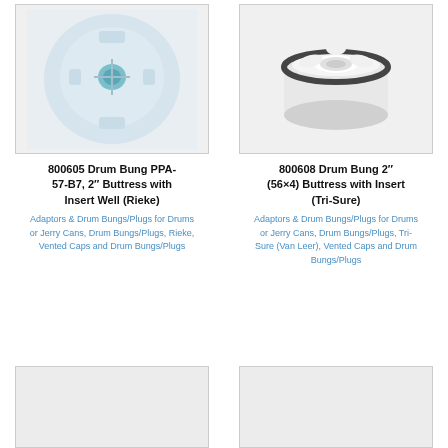[Figure (photo): Blue-white circular drum bung PPA-57-B7, viewed from top, showing insert well]
800605 Drum Bung PPA-57-B7, 2″ Buttress with Insert Well (Rieke)
Adaptors & Drum Bungs/Plugs for Drums or Jerry Cans, Drum Bungs/Plugs, Rieke, Vented Caps and Drum Bungs/Plugs
[Figure (photo): White cylindrical drum bung 2 inch (56x4) buttress with black rubber seal and insert, viewed at angle]
800608 Drum Bung 2″ (56×4) Buttress with Insert (Tri-Sure)
Adaptors & Drum Bungs/Plugs for Drums or Jerry Cans, Drum Bungs/Plugs, Tri-Sure (Van Leer), Vented Caps and Drum Bungs/Plugs
[Figure (photo): Placeholder image box (bottom left), light gray background]
[Figure (photo): Placeholder image box (bottom right), light gray background]